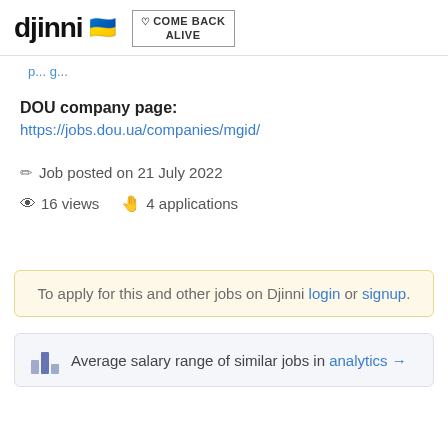djinni 🇺🇦  COME BACK ALIVE
DOU company page:
https://jobs.dou.ua/companies/mgid/
Job posted on 21 July 2022
16 views   4 applications
To apply for this and other jobs on Djinni login or signup.
Average salary range of similar jobs in analytics →